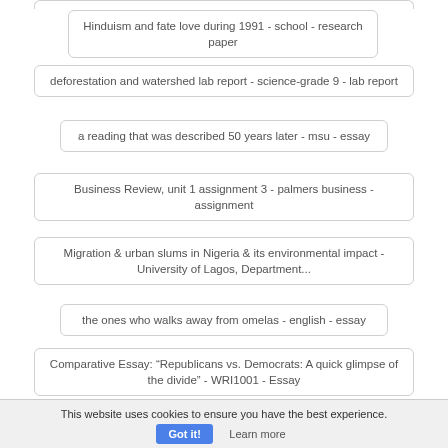Hinduism and fate love during 1991 - school - research paper
deforestation and watershed lab report - science-grade 9 - lab report
a reading that was described 50 years later - msu - essay
Business Review, unit 1 assignment 3 - palmers business - assignment
Migration & urban slums in Nigeria & its environmental impact - University of Lagos, Department...
the ones who walks away from omelas - english - essay
Comparative Essay: “Republicans vs. Democrats: A quick glimpse of the divide” - WRI1001 - Essay
This website uses cookies to ensure you have the best experience.